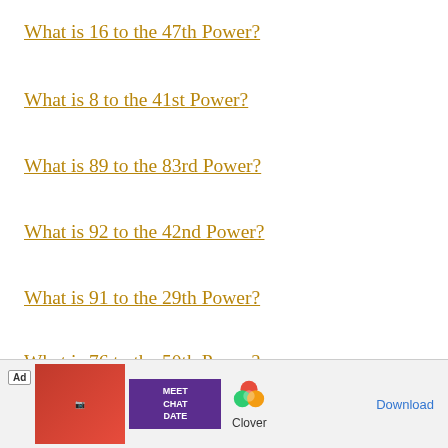What is 16 to the 47th Power?
What is 8 to the 41st Power?
What is 89 to the 83rd Power?
What is 92 to the 42nd Power?
What is 91 to the 29th Power?
What is 76 to the 50th Power?
What is 45 to the 100th Power?
Wha...
[Figure (screenshot): Advertisement banner for Clover dating app with Meet Chat Date text and Download button]